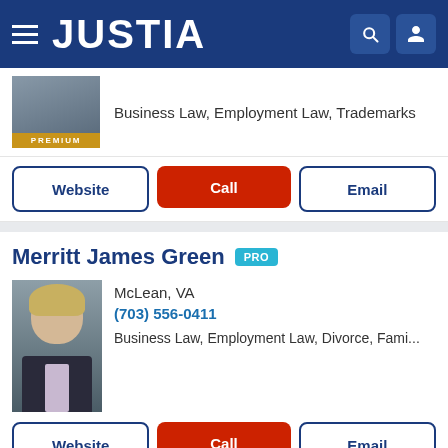JUSTIA
Business Law, Employment Law, Trademarks
Website | Call | Email
Merritt James Green PRO
McLean, VA
(703) 556-0411
Business Law, Employment Law, Divorce, Fami...
Website | Call | Email
Justia Ask a Lawyer is a forum for consumers to get answers to basic legal questions. Any information sent through Justia Ask a Lawyer is not secure and is done so on a non-confidential basis